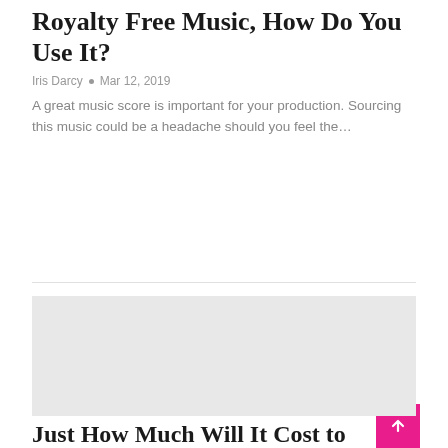Royalty Free Music, How Do You Use It?
Iris Darcy • Mar 12, 2019
A great music score is important for your production. Sourcing this music could be a headache should you feel the…
[Figure (other): Grey placeholder image card with a pink 'MAGICIANS' category badge in the top-left corner]
Just How Much Will It Cost to book a Magician?